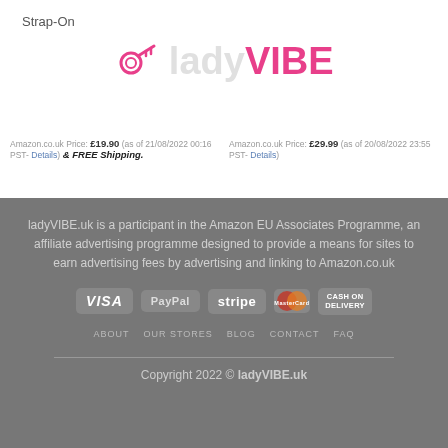Strap-On
[Figure (logo): ladyVIBE logo with key icon in pink and grey text]
Amazon.co.uk Price: £19.90 (as of 21/08/2022 00:16 PST- Details) & FREE Shipping.
Amazon.co.uk Price: £29.99 (as of 20/08/2022 23:55 PST- Details)
ladyVIBE.uk is a participant in the Amazon EU Associates Programme, an affiliate advertising programme designed to provide a means for sites to earn advertising fees by advertising and linking to Amazon.co.uk
[Figure (other): Payment icons: VISA, PayPal, stripe, MasterCard, Cash on Delivery]
ABOUT  OUR STORES  BLOG  CONTACT  FAQ
Copyright 2022 © ladyVIBE.uk